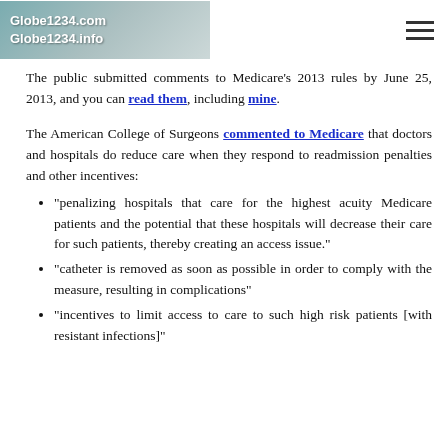Globe1234.com Globe1234.info
The public submitted comments to Medicare's 2013 rules by June 25, 2013, and you can read them, including mine.
The American College of Surgeons commented to Medicare that doctors and hospitals do reduce care when they respond to readmission penalties and other incentives:
"penalizing hospitals that care for the highest acuity Medicare patients and the potential that these hospitals will decrease their care for such patients, thereby creating an access issue."
"catheter is removed as soon as possible in order to comply with the measure, resulting in complications"
"incentives to limit access to care to such high risk patients [with resistant infections]"